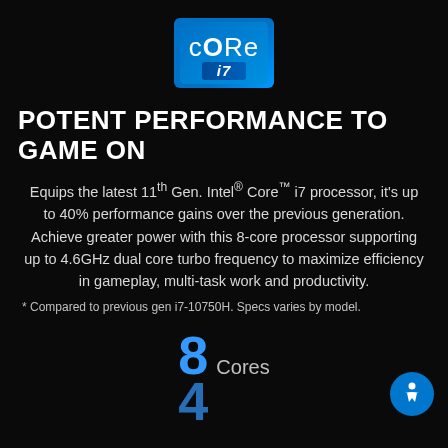[Figure (logo): Intel Core i7 logo — blue square badge with 'CoRe' text in white and 'i7' on a darker blue lower band]
POTENT PERFORMANCE TO GAME ON
Equips the latest 11th Gen. Intel® Core™ i7 processor, it's up to 40% performance gains over the previous generation. Achieve greater power with this 8-core processor supporting up to 4.6GHz dual core turbo frequency to maximize efficiency in gameplay, multi-task work and productivity.
* Compared to previous gen i7-10750H. Specs varies by model.
8 Cores